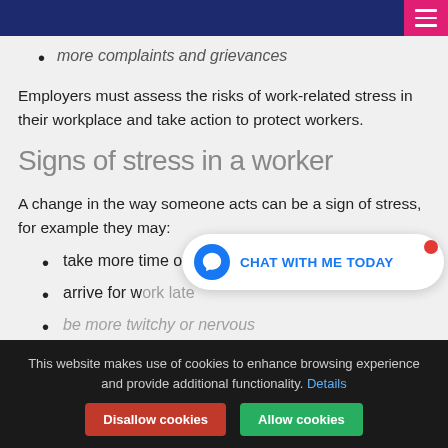more complaints and grievances
Employers must assess the risks of work-related stress in their workplace and take action to protect workers.
Signs of stress in a worker
A change in the way someone acts can be a sign of stress, for example they may:
take more time off
arrive for work late
be more twitchy or nervous
CHAT WITH ME TODAY
This website makes use of cookies to enhance browsing experience and provide additional functionality. Details
Disallow cookies   Allow cookies